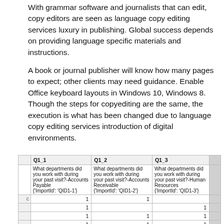With grammar software and journalists that can edit, copy editors are seen as language copy editing services luxury in publishing. Global success depends on providing language specific materials and instructions.
A book or journal publisher will know how many pages to expect; other clients may need guidance. Enable Office keyboard layouts in Windows 10, Windows 8. Though the steps for copyediting are the same, the execution is what has been changed due to language copy editing services introduction of digital environments.
|  | Q1_1 | Q1_2 | Q1_3 |
| --- | --- | --- | --- |
|  | What departments did you work with during your past visit?-Accounts Payable
{'ImportId': 'QID1-1'} | What departments did you work with during your past visit?-Accounts Receivable
{'ImportId': 'QID1-2'} | What departments did you work with during your past visit?-Human Resources
{'ImportId': 'QID1-3'} |
| c | 1 | 1 |  |
|  | 1 |  | 1 |
|  | 1 | 1 | 1 |
|  | 1 | 1 | 1 |
|  | 1 |  | 1 |
|  | 1 | 1 | 1 |
|  | 1 | 1 | 1 |